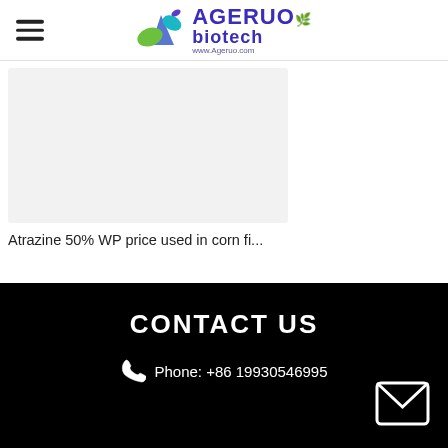AGERUO biotech — www.Ageruo.com
[Figure (photo): Product image placeholder — light gray rectangular box representing a product photo]
Atrazine 50% WP price used in corn fi...
CONTACT US
Phone: +86 19930546995